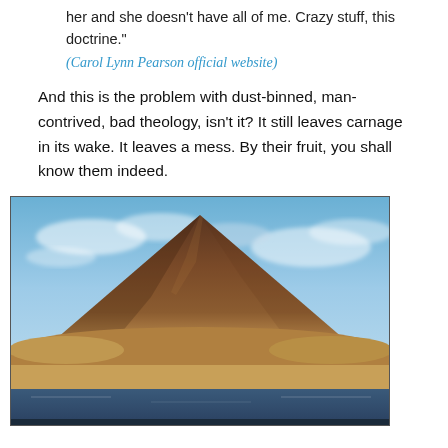her and she doesn't have all of me. Crazy stuff, this doctrine."
(Carol Lynn Pearson official website)
And this is the problem with dust-binned, man-contrived, bad theology, isn't it? It still leaves carnage in its wake. It leaves a mess. By their fruit, you shall know them indeed.
[Figure (photo): A large pyramid-shaped mound of dark brown earth or rubble against a blue cloudy sky, with smaller mounds at the base and a reflective surface (water or wet ground) in the foreground.]